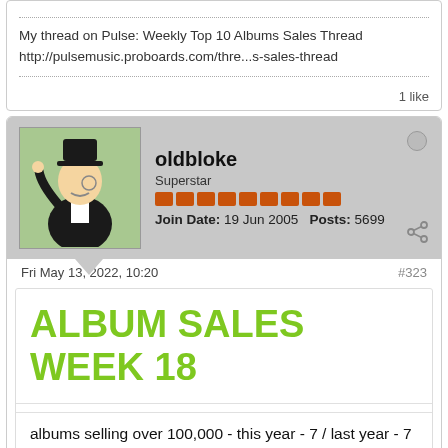My thread on Pulse: Weekly Top 10 Albums Sales Thread
http://pulsemusic.proboards.com/thre...s-sales-thread
1 like
oldbloke
Superstar
Join Date: 19 Jun 2005   Posts: 5699
Fri May 13, 2022, 10:20
#323
ALBUM SALES WEEK 18
albums selling over 100,000 - this year - 7 / last year - 7
Titles shown in blue are 2022 releases, titles shown in r…